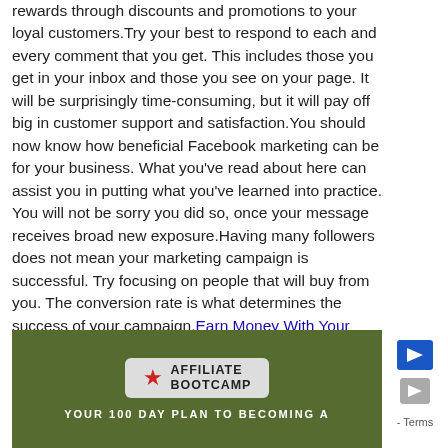rewards through discounts and promotions to your loyal customers.Try your best to respond to each and every comment that you get. This includes those you get in your inbox and those you see on your page. It will be surprisingly time-consuming, but it will pay off big in customer support and satisfaction.You should now know how beneficial Facebook marketing can be for your business. What you've read about here can assist you in putting what you've learned into practice. You will not be sorry you did so, once your message receives broad new exposure.Having many followers does not mean your marketing campaign is successful. Try focusing on people that will buy from you. The conversion rate is what determines the success of your campaign.Earn Money With Your Website! Click here!
[Figure (other): Affiliate Bootcamp banner with dark olive/green background. Shows a badge with red star and 'AFFILIATE BOOTCAMP' text, subtitle 'YOUR 100 DAY PLAN TO BECOMING A']